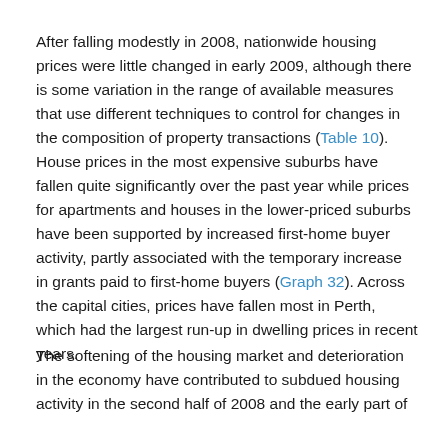After falling modestly in 2008, nationwide housing prices were little changed in early 2009, although there is some variation in the range of available measures that use different techniques to control for changes in the composition of property transactions (Table 10). House prices in the most expensive suburbs have fallen quite significantly over the past year while prices for apartments and houses in the lower-priced suburbs have been supported by increased first-home buyer activity, partly associated with the temporary increase in grants paid to first-home buyers (Graph 32). Across the capital cities, prices have fallen most in Perth, which had the largest run-up in dwelling prices in recent years.
The softening of the housing market and deterioration in the economy have contributed to subdued housing activity in the second half of 2008 and the early part of